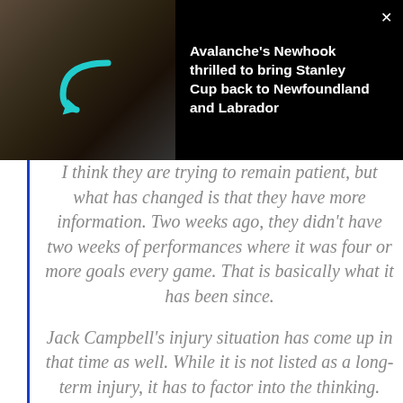[Figure (photo): Dark banner with a photo of a young man wearing a white cap being interviewed outdoors; a teal arrow graphic overlay appears on the photo. The right side shows a black background with a headline in white bold text and a close (×) button.]
Avalanche's Newhook thrilled to bring Stanley Cup back to Newfoundland and Labrador
I think they are trying to remain patient, but what has changed is that they have more information. Two weeks ago, they didn't have two weeks of performances where it was four or more goals every game. That is basically what it has been since.
Jack Campbell's injury situation has come up in that time as well. While it is not listed as a long-term injury, it has to factor into the thinking.
The issue is there is not a lot of players.